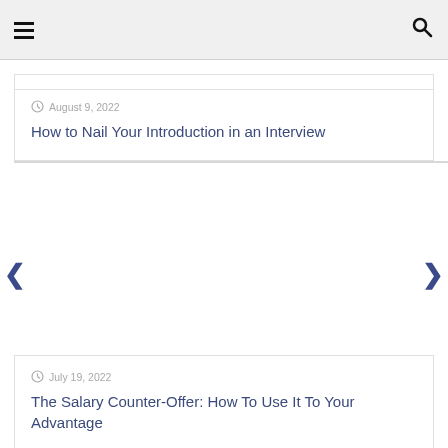≡  🔍
August 9, 2022
How to Nail Your Introduction in an Interview
July 19, 2022
The Salary Counter-Offer: How To Use It To Your Advantage